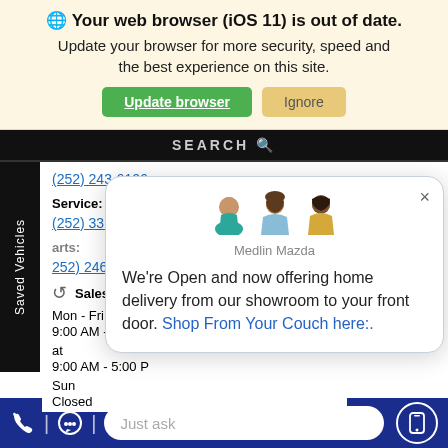Your web browser (iOS 11) is out of date. Update your browser for more security, speed and the best experience on this site.
[Figure (screenshot): Update browser and Ignore buttons]
[Figure (screenshot): Website screenshot showing phone numbers, service hours, Saved Vehicles tab, and a chat popup from Medlin Mazda saying: We're Open and now offering home delivery from our showroom to your front door. Shop From Your Couch here:.]
(252) 243-6106
Service:
(252) 336-9778
Parts:
(252) 246-7815
Sales Hours:
Mon - Fri
9:00 AM - 7:00 PM
Sat
9:00 AM - 5:00 PM
Sun
Closed
Medlin Mazda
We're Open and now offering home delivery from our showroom to your front door. Shop From Your Couch here:.